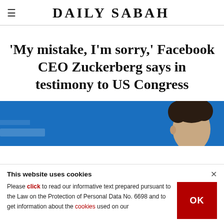DAILY SABAH
'My mistake, I'm sorry,' Facebook CEO Zuckerberg says in testimony to US Congress
[Figure (photo): Photo of Mark Zuckerberg against a blue background, partially visible, showing his head and upper body.]
This website uses cookies
Please click to read our informative text prepared pursuant to the Law on the Protection of Personal Data No. 6698 and to get information about the cookies used on our